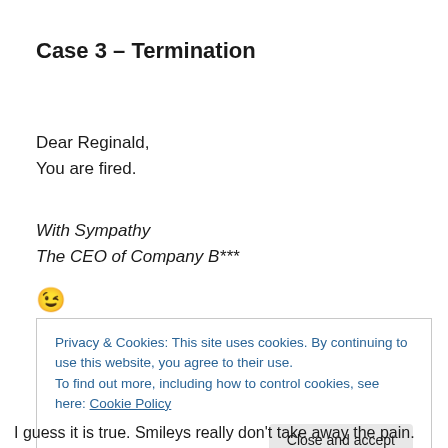Case 3 – Termination
Dear Reginald,
You are fired.
With Sympathy
The CEO of Company B***
😉
Privacy & Cookies: This site uses cookies. By continuing to use this website, you agree to their use.
To find out more, including how to control cookies, see here: Cookie Policy
Close and accept
I guess it is true. Smileys really don't take away the pain.